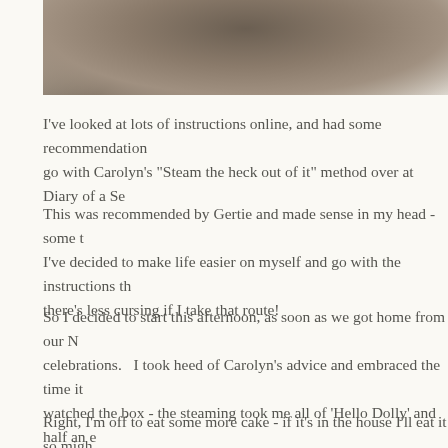[Figure (photo): Partial view of a knitting or sewing project with needles and fabric/yarn on a light background, image is cropped showing only the top portion]
I've looked at lots of instructions online, and had some recommendation go with Carolyn's "Steam the heck out of it" method over at Diary of a Se
This was recommended by Gertie and made sense in my head - some t I've decided to make life easier on myself and go with the instructions th there's less cursing if I take that route!
So I decided to start this afternoon, as soon as we got home from our N celebrations.   I took heed of Carolyn's advice and embraced the time it watched the box - the steaming took me all of 'Hello Dolly' and half an e Thrones'.  I'm hopeful that this will prove to be one of the slower parts o of making the cape.
Right, I'm off to eat some more cake - if it's in the house I'll eat it so migh of the way. Anything left on Friday is going back to Uni with L - he might holdall!